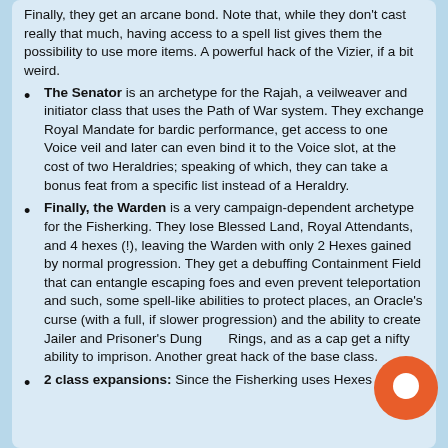Finally, they get an arcane bond. Note that, while they don't cast really that much, having access to a spell list gives them the possibility to use more items. A powerful hack of the Vizier, if a bit weird.
The Senator is an archetype for the Rajah, a veilweaver and initiator class that uses the Path of War system. They exchange Royal Mandate for bardic performance, get access to one Voice veil and later can even bind it to the Voice slot, at the cost of two Heraldries; speaking of which, they can take a bonus feat from a specific list instead of a Heraldry.
Finally, the Warden is a very campaign-dependent archetype for the Fisherking. They lose Blessed Land, Royal Attendants, and 4 hexes (!), leaving the Warden with only 2 Hexes gained by normal progression. They get a debuffing Containment Field that can entangle escaping foes and even prevent teleportation and such, some spell-like abilities to protect places, an Oracle's curse (with a full, if slower progression) and the ability to create Jailer and Prisoner's Dungeon Rings, and as a cap get a nifty ability to imprison. Another great hack of the base class.
2 class expansions: Since the Fisherking uses Hexes